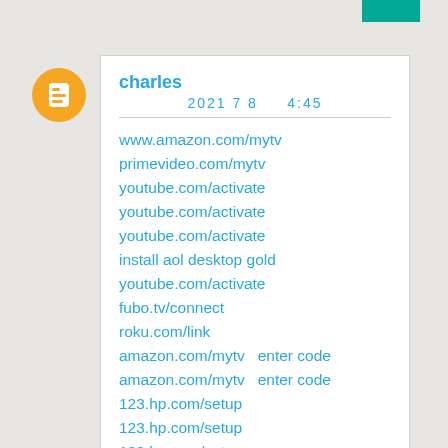[Figure (logo): Blogger orange circle logo icon]
charles
2021 7 8   4:45
www.amazon.com/mytv
primevideo.com/mytv
youtube.com/activate
youtube.com/activate
youtube.com/activate
install aol desktop gold
youtube.com/activate
fubo.tv/connect
roku.com/link
amazon.com/mytv  enter code
amazon.com/mytv  enter code
123.hp.com/setup
123.hp.com/setup
123.hp.com/setup
hulu.com/activate